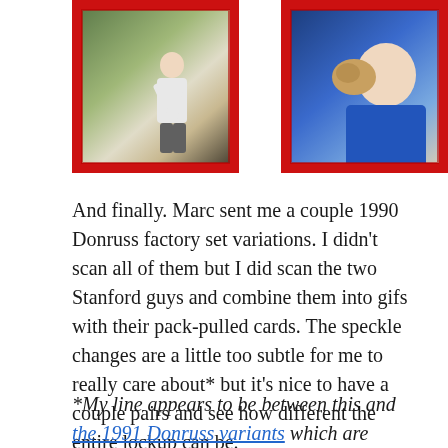[Figure (photo): Two 1990 Donruss baseball cards side by side with red borders. Left card shows a pitcher in white uniform mid-wind-up. Right card shows a player in blue uniform holding a glove close to face.]
And finally. Marc sent me a couple 1990 Donruss factory set variations. I didn't scan all of them but I did scan the two Stanford guys and combine them into gifs with their pack-pulled cards. The speckle changes are a little too subtle for me to really care about* but it's nice to have a couple pairs and see how different the entire lockup can be.
*My line appears to be between this and the 1991 Donruss variants which are similarly subtle but